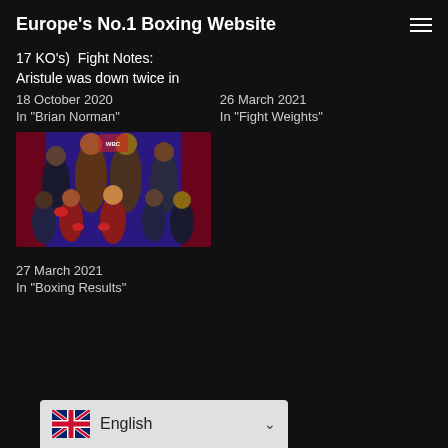Europe's No.1 Boxing Website
17 KO's)  Fight Notes: Aristule was down twice in
18 October 2020
In "Brian Norman"
26 March 2021
In "Fight Weights"
[Figure (photo): Group photo of boxers posed for promotional event]
27 March 2021
In "Boxing Results"
English (language selector with UK flag)